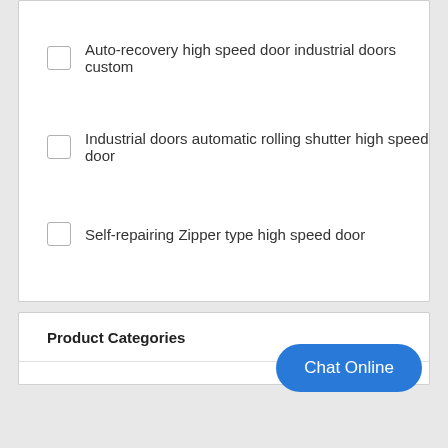Auto-recovery high speed door industrial doors custom
Industrial doors automatic rolling shutter high speed door
Self-repairing Zipper type high speed door
Product Categories
Chat Online